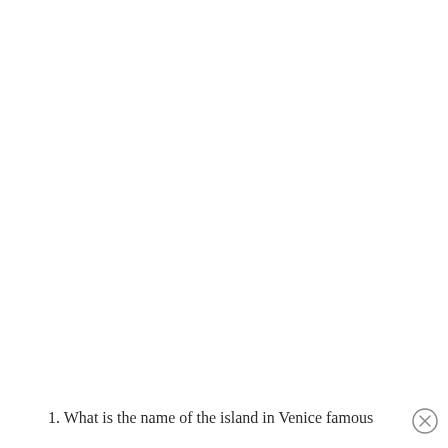1. What is the name of the island in Venice famous